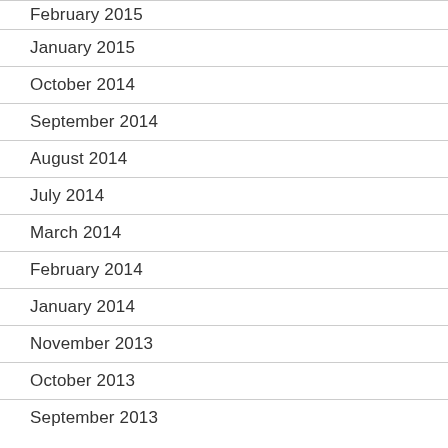February 2015
January 2015
October 2014
September 2014
August 2014
July 2014
March 2014
February 2014
January 2014
November 2013
October 2013
September 2013